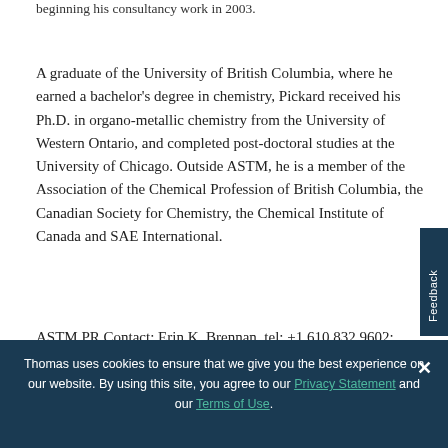beginning his consultancy work in 2003.
A graduate of the University of British Columbia, where he earned a bachelor's degree in chemistry, Pickard received his Ph.D. in organo-metallic chemistry from the University of Western Ontario, and completed post-doctoral studies at the University of Chicago. Outside ASTM, he is a member of the Association of the Chemical Profession of British Columbia, the Canadian Society for Chemistry, the Chemical Institute of Canada and SAE International.
ASTM PR Contact: Erin K. Brennan, tel: +1.610.832.9602;
Thomas uses cookies to ensure that we give you the best experience on our website. By using this site, you agree to our Privacy Statement and our Terms of Use.